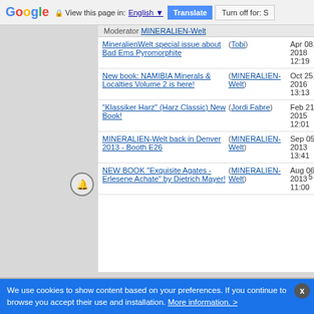Google Translate bar: View this page in: English | Translate | Turn off for: S
Moderator MINERALIEN-Welt
MineralienWelt special issue about Bad Ems Pyromorphite (Tobi) Apr 08, 2018 12:19 Replies: 1 Views: 20557
New book: NAMIBIA Minerals & Localties Volume 2 is here! (MINERALIEN-Welt) Oct 25, 2016 13:13 Replies: 1 Views: 16926
"Klassiker Harz" (Harz Classic) New Book! (Jordi Fabre) Feb 21, 2015 12:01 Replies: 1 Views: 19266
MINERALIEN-Welt back in Denver 2013 - Booth E26 (MINERALIEN-Welt) Sep 05, 2013 13:41 Replies: 1 Views: 20499
NEW BOOK "Exquisite Agates - Erlesene Achate" by Dietrich Mayer! (MINERALIEN-Welt) Aug 06, 2013 11:00 Replies: 2 Views: 27808
Le Règne Minéral
Le Règne Minéral is the French mineralogical magazine since 1995. It has published many articles about classic French mineralogy and new discoveries. The readers can also discover French mineral collectors and personalities, reports of the world's greatest mineral shows, book reviews, press reviews and many other articles about international mineralogy. Join us!! - Moderator Julien
We use cookies to show content based on your preferences. If you continue to browse you accept their use and installation. More information. >